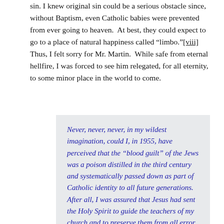sin. I knew original sin could be a serious obstacle since, without Baptism, even Catholic babies were prevented from ever going to heaven.  At best, they could expect to go to a place of natural happiness called “limbo.”[viii] Thus, I felt sorry for Mr. Martin.  While safe from eternal hellfire, I was forced to see him relegated, for all eternity, to some minor place in the world to come.
Never, never, never, in my wildest imagination, could I, in 1955, have perceived that the “blood guilt” of the Jews was a poison distilled in the third century and systematically passed down as part of Catholic identity to all future generations. After all, I was assured that Jesus had sent the Holy Spirit to guide the teachers of my church and to preserve them from all error until the end of time.  It seemed